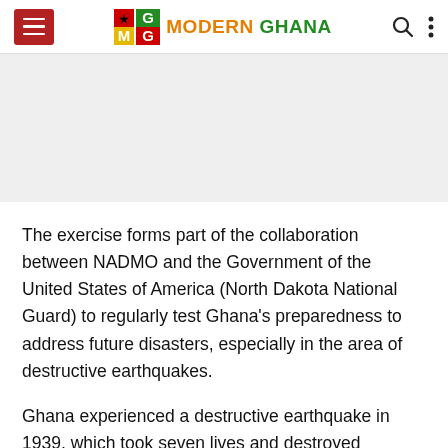Modern Ghana
[Figure (other): Gray banner/advertisement placeholder area]
The exercise forms part of the collaboration between NADMO and the Government of the United States of America (North Dakota National Guard) to regularly test Ghana's preparedness to address future disasters, especially in the area of destructive earthquakes.
Ghana experienced a destructive earthquake in 1939, which took seven lives and destroyed unaccountable properties in Accra.